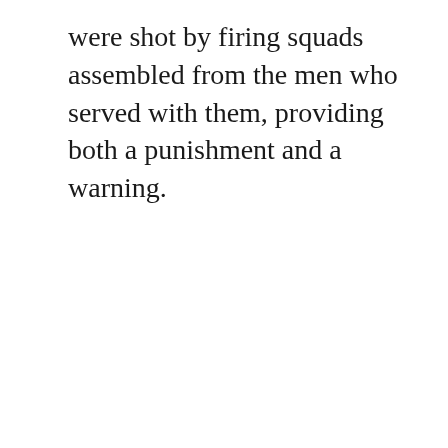were shot by firing squads assembled from the men who served with them, providing both a punishment and a warning.